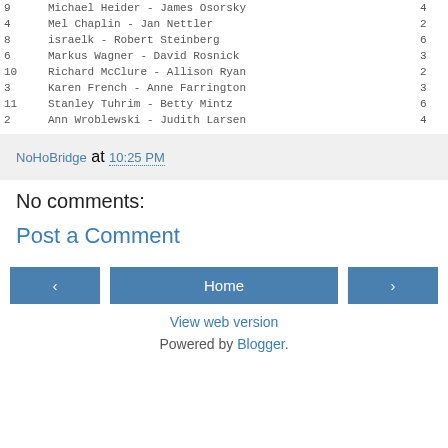| 9 | Michael Heider - James Osorsky | 4 |
| 4 | Mel Chaplin - Jan Nettler | 2 |
| 8 | israelk - Robert Steinberg | 6 |
| 6 | Markus Wagner - David Rosnick | 3 |
| 10 | Richard McClure - Allison Ryan | 2 |
| 3 | Karen French - Anne Farrington | 3 |
| 11 | Stanley Tuhrim - Betty Mintz | 6 |
| 2 | Ann Wroblewski - Judith Larsen | 4 |
NoHoBridge at 10:25 PM
No comments:
Post a Comment
Home
View web version
Powered by Blogger.